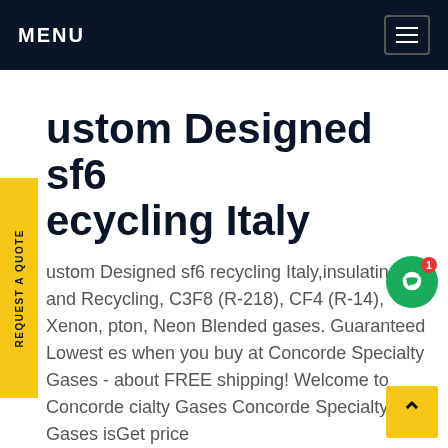MENU
Custom Designed sf6 recycling Italy
Custom Designed sf6 recycling Italy,insulating gas and Recycling, C3F8 (R-218), CF4 (R-14), Xenon, Krypton, Neon Blended gases. Guaranteed Lowest Prices when you buy at Concorde Specialty Gases - ask about FREE shipping! Welcome to Concorde Specialty Gases Concorde Specialty Gases isGet price